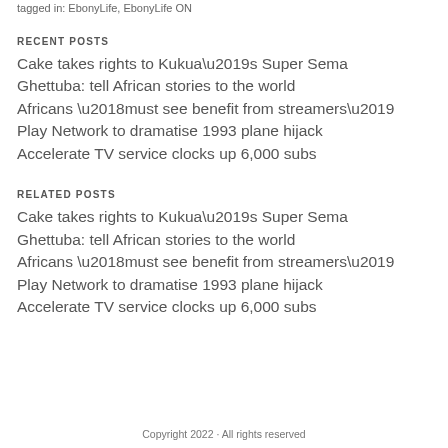tagged in: EbonyLife, EbonyLife ON
RECENT POSTS
Cake takes rights to Kukua’s Super Sema Ghettuba: tell African stories to the world Africans ‘must see benefit from streamers’ Play Network to dramatise 1993 plane hijack Accelerate TV service clocks up 6,000 subs
RELATED POSTS
Cake takes rights to Kukua’s Super Sema Ghettuba: tell African stories to the world Africans ‘must see benefit from streamers’ Play Network to dramatise 1993 plane hijack Accelerate TV service clocks up 6,000 subs
Copyright 2022 · All rights reserved